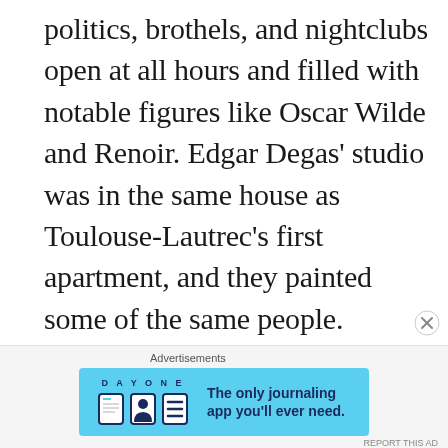politics, brothels, and nightclubs open at all hours and filled with notable figures like Oscar Wilde and Renoir. Edgar Degas' studio was in the same house as Toulouse-Lautrec's first apartment, and they painted some of the same people. Vincent van Gogh was also an outsider in Paris and the two became friends.
[Figure (other): Advertisement banner for Day One journaling app on a light blue background with app icons and text 'The only journaling app you'll ever need.']